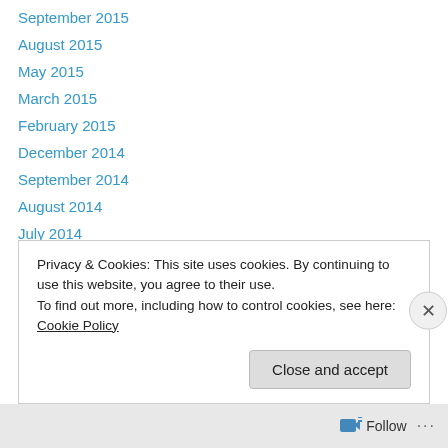September 2015
August 2015
May 2015
March 2015
February 2015
December 2014
September 2014
August 2014
July 2014
June 2014
May 2014
April 2014
March 2014
Privacy & Cookies: This site uses cookies. By continuing to use this website, you agree to their use.
To find out more, including how to control cookies, see here: Cookie Policy
Close and accept
Follow ...